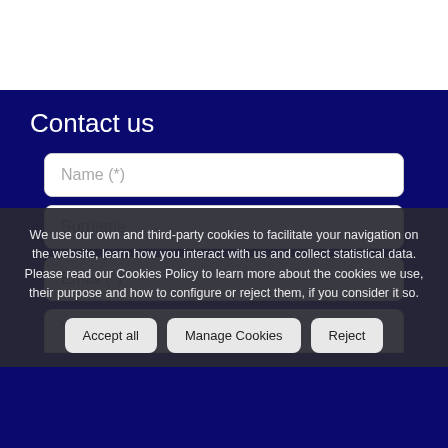Contact us
[Figure (screenshot): Contact form with input fields: Name (*), Surname, Email (*), Telephone]
We use our own and third-party cookies to facilitate your navigation on the website, learn how you interact with us and collect statistical data. Please read our Cookies Policy to learn more about the cookies we use, their purpose and how to configure or reject them, if you consider it so.
Accept all  Manage Cookies  Reject
QUESTION?